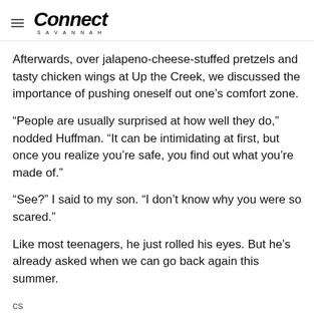Connect Savannah
Afterwards, over jalapeno-cheese-stuffed pretzels and tasty chicken wings at Up the Creek, we discussed the importance of pushing oneself out one's comfort zone.
“People are usually surprised at how well they do,” nodded Huffman. “It can be intimidating at first, but once you realize you’re safe, you find out what you’re made of.”
“See?” I said to my son. “I don’t know why you were so scared.”
Like most teenagers, he just rolled his eyes. But he’s already asked when we can go back again this summer.
cs